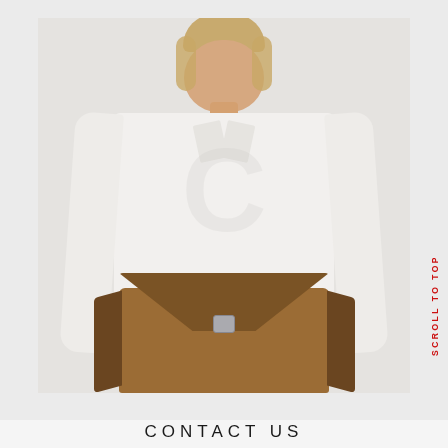[Figure (photo): Woman in white fitted long-sleeve collared shirt holding a tan/brown leather clutch bag with silver clasp, semi-transparent watermark letter C overlaid on her torso, photographed against light grey background]
SCROLL TO TOP
CONTACT US